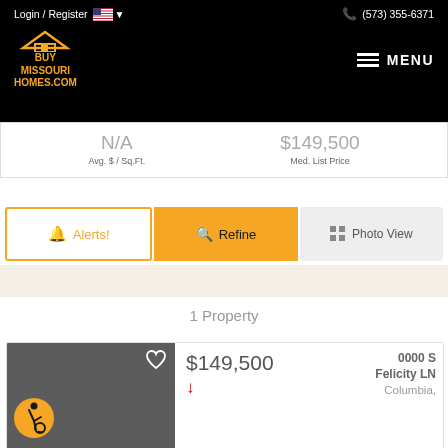Login / Register  (573) 355-6371  BUY MISSOURI HOMES.COM  MENU
N/A
Avg. $ / Sq.Ft.
$149,500
Med. List Price
Alerts!  Refine  Photo View
1 Property
$149,500
0000 S Felicity LN
Columbia,